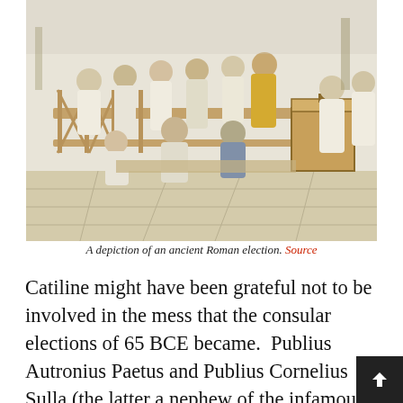[Figure (illustration): A color illustration depicting an ancient Roman election scene. Many toga-clad Roman citizens are gathered on a wooden platform with railings. Some are voting or dropping tablets into a box on the right. Officials and citizens interact in a civic setting with columns and open sky in the background.]
A depiction of an ancient Roman election. Source
Catiline might have been grateful not to be involved in the mess that the consular elections of 65 BCE became.  Publius Autronius Paetus and Publius Cornelius Sulla (the latter a nephew of the infamous Sulla) were both elected as consul. However they were controversially blocked from taking office under a law passed two years ear to prevent electoral corruption. Instead they were